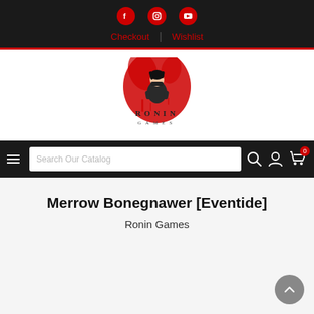Social icons: Facebook, Instagram, YouTube | Checkout | Wishlist
[Figure (logo): Ronin Games logo: anime-style ninja character with red ink splash background, text RONIN GAMES below]
Search Our Catalog navigation bar with hamburger menu, search box, search icon, account icon, cart icon (0)
Merrow Bonegnawer [Eventide]
Ronin Games